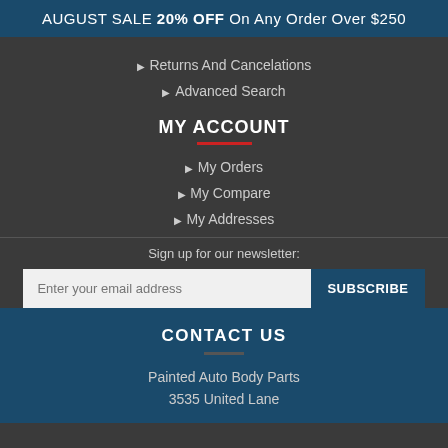AUGUST SALE 20% OFF On Any Order Over $250
Returns And Cancelations
Advanced Search
MY ACCOUNT
My Orders
My Compare
My Addresses
Sign up for our newsletter:
Enter your email address  SUBSCRIBE
CONTACT US
Painted Auto Body Parts
3535 United Lane